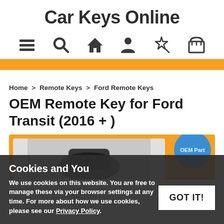Car Keys Online
[Figure (infographic): Navigation icon bar with menu (hamburger), search (magnifying glass), home (house), account (person), wishlist (star wand), and cart (basket) icons]
Home > Remote Keys > Ford Remote Keys
OEM Remote Key for Ford Transit (2016 + )
[Figure (photo): Product image area with orange background, grey inner box showing product photo, and blue circle OEM Part badge]
Cookies and You
We use cookies on this website. You are free to manage these via your browser settings at any time. For more about how we use cookies, please see our Privacy Policy.